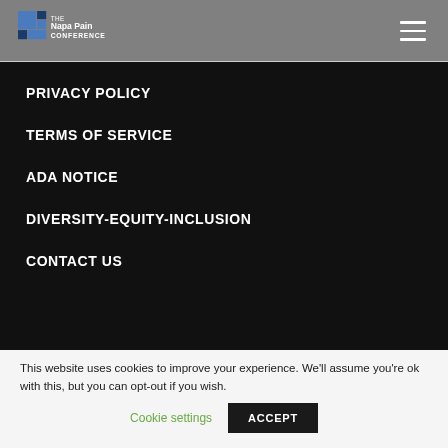The Napa Pain Conference
PRIVACY POLICY
TERMS OF SERVICE
ADA NOTICE
DIVERSITY-EQUITY-INCLUSION
CONTACT US
This website uses cookies to improve your experience. We'll assume you're ok with this, but you can opt-out if you wish.
Cookie settings  ACCEPT